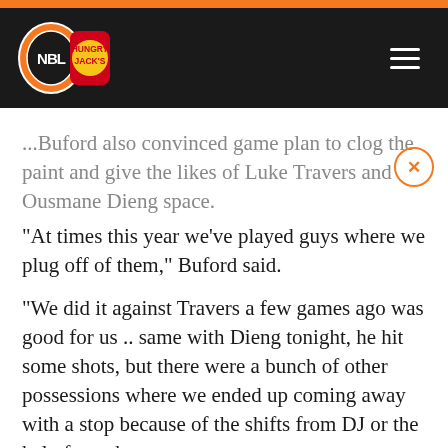[Figure (logo): NBL Hungry Jack's logo on dark header bar with hamburger menu icon]
...Buford also convinced game plan to clog the paint and give the likes of Luke Travers and Ousmane Dieng space.
“At times this year we’ve played guys where we plug off of them,” Buford said.
“We did it against Travers a few games ago was good for us .. same with Dieng tonight, he hit some shots, but there were a bunch of other possessions where we ended up coming away with a stop because of the shifts from DJ or the help from those guys.
“You have to live sometimes with a guy you feel you can maybe make beat you.”
With Xavier Munford and Kyle Adnam out and Cam